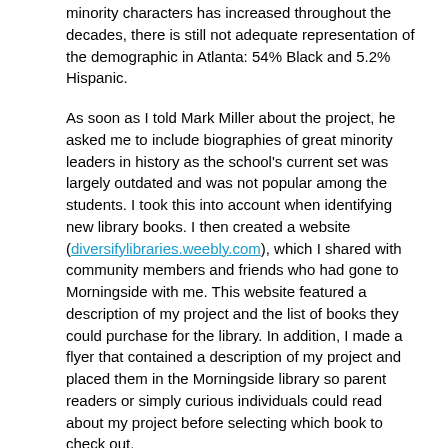minority characters has increased throughout the decades, there is still not adequate representation of the demographic in Atlanta: 54% Black and 5.2% Hispanic.
As soon as I told Mark Miller about the project, he asked me to include biographies of great minority leaders in history as the school's current set was largely outdated and was not popular among the students. I took this into account when identifying new library books. I then created a website (diversifylibraries.weebly.com), which I shared with community members and friends who had gone to Morningside with me. This website featured a description of my project and the list of books they could purchase for the library. In addition, I made a flyer that contained a description of my project and placed them in the Morningside library so parent readers or simply curious individuals could read about my project before selecting which book to check out.
This project was easy to accomplish, and I encourage all librarians to consider implementing something like this at their school. By creating a website like mine it is simple to display selected books along with an overview of each one and a price, and it is possible to provide a link to a PayPal or other online banking site where community members could purchase whichever one they like. The money raised on PayPal was sent to the school, which could purchase the books